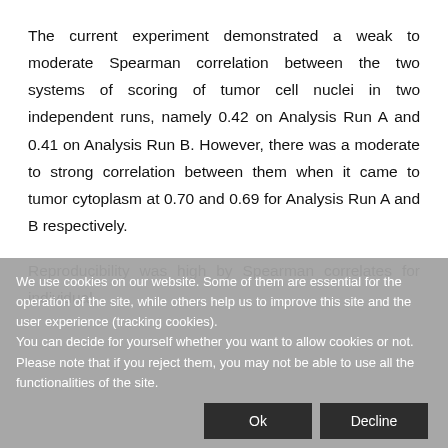The current experiment demonstrated a weak to moderate Spearman correlation between the two systems of scoring of tumor cell nuclei in two independent runs, namely 0.42 on Analysis Run A and 0.41 on Analysis Run B. However, there was a moderate to strong correlation between them when it came to tumor cytoplasm at 0.70 and 0.69 for Analysis Run A and B respectively.
Reproducibility was high by Spearman correlates for individual [text continues below overlay]
We use cookies on our website. Some of them are essential for the operation of the site, while others help us to improve this site and the user experience (tracking cookies). You can decide for yourself whether you want to allow cookies or not. Please note that if you reject them, you may not be able to use all the functionalities of the site.